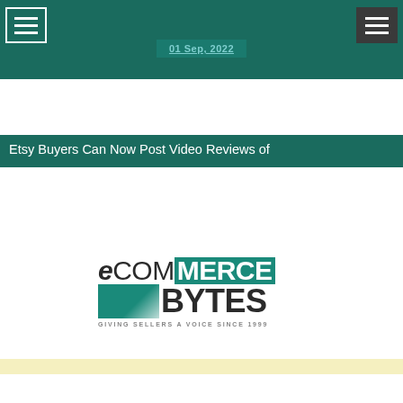01 Sep, 2022
Etsy Buyers Can Now Post Video Reviews of
[Figure (logo): eCOMMERCE BYTES logo with teal color scheme and tagline 'GIVING SELLERS A VOICE SINCE 1999']